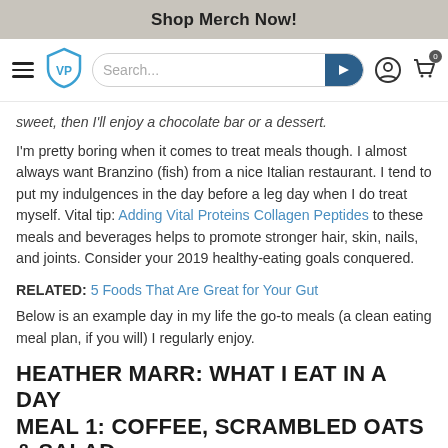Shop Merch Now!
sweet, then I'll enjoy a chocolate bar or a dessert.
I'm pretty boring when it comes to treat meals though. I almost always want Branzino (fish) from a nice Italian restaurant. I tend to put my indulgences in the day before a leg day when I do treat myself. Vital tip: Adding Vital Proteins Collagen Peptides to these meals and beverages helps to promote stronger hair, skin, nails, and joints. Consider your 2019 healthy-eating goals conquered.
RELATED: 5 Foods That Are Great for Your Gut
Below is an example day in my life the go-to meals (a clean eating meal plan, if you will) I regularly enjoy.
HEATHER MARR: WHAT I EAT IN A DAY
MEAL 1: COFFEE, SCRAMBLED OATS & SALAD